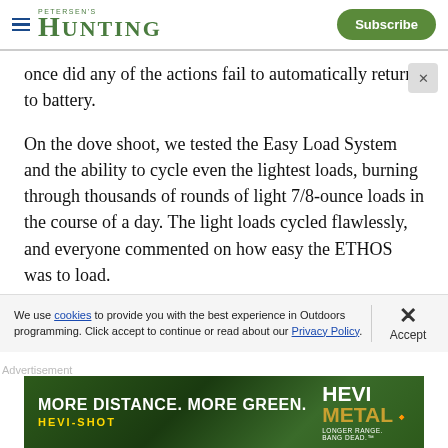PETERSEN'S HUNTING | Subscribe
once did any of the actions fail to automatically return to battery.
On the dove shoot, we tested the Easy Load System and the ability to cycle even the lightest loads, burning through thousands of rounds of light 7/8-ounce loads in the course of a day. The light loads cycled flawlessly, and everyone commented on how easy the ETHOS was to load.
We use cookies to provide you with the best experience in Outdoors programming. Click accept to continue or read about our Privacy Policy.
[Figure (photo): HEVI-SHOT HEVI-METAL advertisement banner: MORE DISTANCE. MORE GREEN. HEVI-SHOT | HEVI METAL LONGER RANGE. BANG DEAD.]